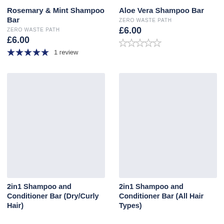Rosemary & Mint Shampoo Bar
ZERO WASTE PATH
£6.00
★★★★★ 1 review
Aloe Vera Shampoo Bar
ZERO WASTE PATH
£6.00
☆☆☆☆☆
[Figure (photo): Product image placeholder for 2in1 Shampoo and Conditioner Bar (Dry/Curly Hair)]
2in1 Shampoo and Conditioner Bar (Dry/Curly Hair)
[Figure (photo): Product image placeholder for 2in1 Shampoo and Conditioner Bar (All Hair Types)]
2in1 Shampoo and Conditioner Bar (All Hair Types)